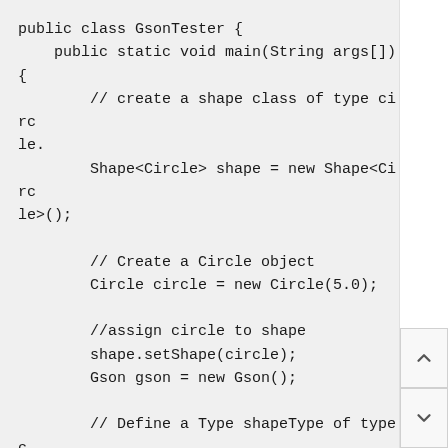public class GsonTester {
    public static void main(String args[])
{
        // create a shape class of type circle.
        Shape<Circle> shape = new Shape<Circle>();

        // Create a Circle object
        Circle circle = new Circle(5.0);

        //assign circle to shape
        shape.setShape(circle);
        Gson gson = new Gson();

        // Define a Type shapeType of type c